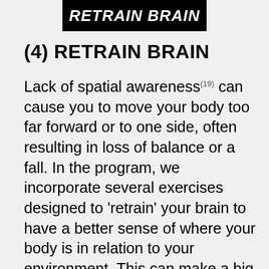RETRAIN BRAIN
(4) RETRAIN BRAIN
Lack of spatial awareness(19) can cause you to move your body too far forward or to one side, often resulting in loss of balance or a fall. In the program, we incorporate several exercises designed to 'retrain' your brain to have a better sense of where your body is in relation to your environment. This can make a big impact on overall balance. Challenging your brain to perform certain cognitive and balance tasks simultaneously